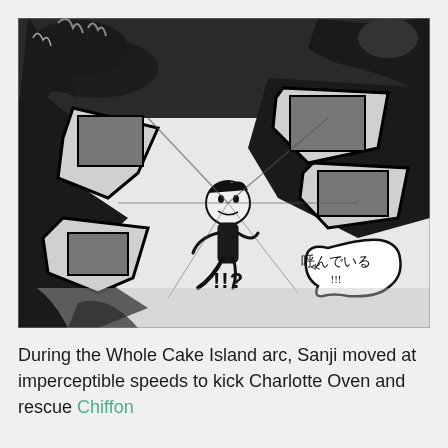[Figure (illustration): Black and white manga panel from One Piece showing Sanji kicking Charlotte Oven at imperceptible speeds. Large Japanese sound effect katakana characters fill the panel. A speech bubble contains Japanese text '呼んでいる!!!' and another shows '!!?'. Dynamic action lines and dramatic shading fill the scene.]
During the Whole Cake Island arc, Sanji moved at imperceptible speeds to kick Charlotte Oven and rescue Chiffon